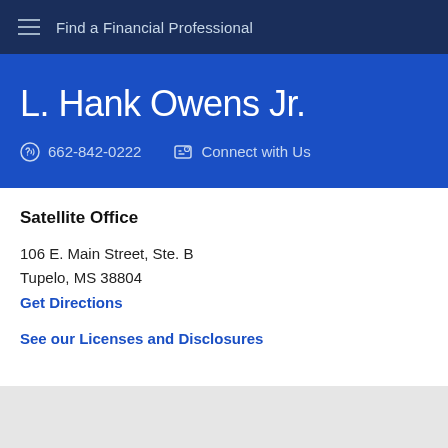Find a Financial Professional
L. Hank Owens Jr.
662-842-0222   Connect with Us
Satellite Office
106 E. Main Street, Ste. B
Tupelo, MS 38804
Get Directions
See our Licenses and Disclosures
[Figure (map): Map area placeholder showing grey background]